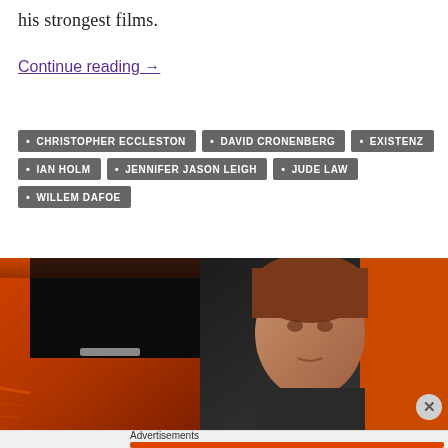his strongest films.
Continue reading →
CHRISTOPHER ECCLESTON
DAVID CRONENBERG
EXISTENZ
IAN HOLM
JENNIFER JASON LEIGH
JUDE LAW
WILLEM DAFOE
[Figure (photo): Film still showing a man with reddish-brown hair looking out of a car window. An orange car door is visible on the left side.]
Advertisements
[Figure (screenshot): DuckDuckGo advertisement banner: 'Search, browse, and email with more privacy. All in One Free App' with DuckDuckGo logo on the right.]